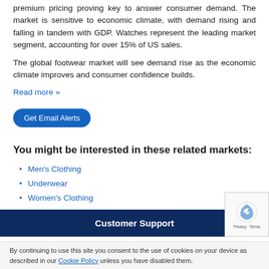premium pricing proving key to answer consumer demand. The market is sensitive to economic climate, with demand rising and falling in tandem with GDP. Watches represent the leading market segment, accounting for over 15% of US sales.
The global footwear market will see demand rise as the economic climate improves and consumer confidence builds.
Read more »
Get Email Alerts
You might be interested in these related markets:
Men's Clothing
Underwear
Women's Clothing
Children's Clothing
Sportswear
Customer Support
By continuing to use this site you consent to the use of cookies on your device as described in our Cookie Policy unless you have disabled them.